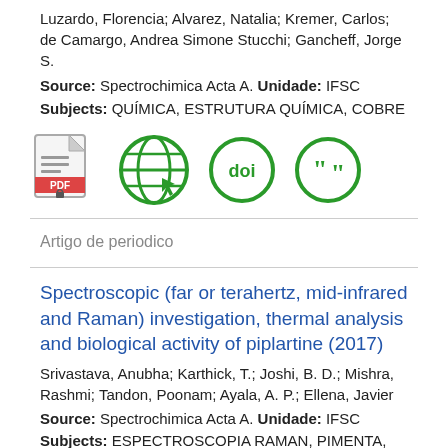Luzardo, Florencia; Alvarez, Natalia; Kremer, Carlos; de Camargo, Andrea Simone Stucchi; Gancheff, Jorge S.
Source: Spectrochimica Acta A. Unidade: IFSC
Subjects: QUÍMICA, ESTRUTURA QUÍMICA, COBRE
[Figure (illustration): Four icons in a row: PDF document icon, globe/web icon (green), DOI circle icon (green), quotation marks circle icon (green)]
Artigo de periodico
Spectroscopic (far or terahertz, mid-infrared and Raman) investigation, thermal analysis and biological activity of piplartine (2017)
Srivastava, Anubha; Karthick, T.; Joshi, B. D.; Mishra, Rashmi; Tandon, Poonam; Ayala, A. P.; Ellena, Javier
Source: Spectrochimica Acta A. Unidade: IFSC
Subjects: ESPECTROSCOPIA RAMAN, PIMENTA, PLANTAS